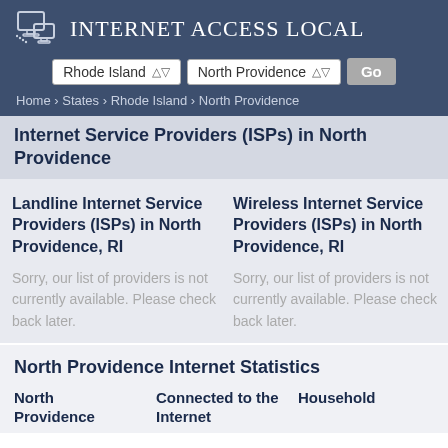Internet Access Local
Rhode Island | North Providence | Go
Home › States › Rhode Island › North Providence
Internet Service Providers (ISPs) in North Providence
Landline Internet Service Providers (ISPs) in North Providence, RI
Sorry, our list of providers is not currently available. Please check back later.
Wireless Internet Service Providers (ISPs) in North Providence, RI
Sorry, our list of providers is not currently available. Please check back later.
North Providence Internet Statistics
North Providence | Connected to the Internet | Household